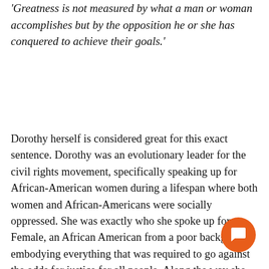'Greatness is not measured by what a man or woman accomplishes but by the opposition he or she has conquered to achieve their goals.'
Dorothy herself is considered great for this exact sentence. Dorothy was an evolutionary leader for the civil rights movement, specifically speaking up for African-American women during a lifespan where both women and African-Americans were socially oppressed. She was exactly who she spoke up for, a Female, an African American from a poor background embodying everything that was required to go against the odds for justice for all people. Along the way she collected distinguished honours such as the Presidential Medal of Freedom, Presidential